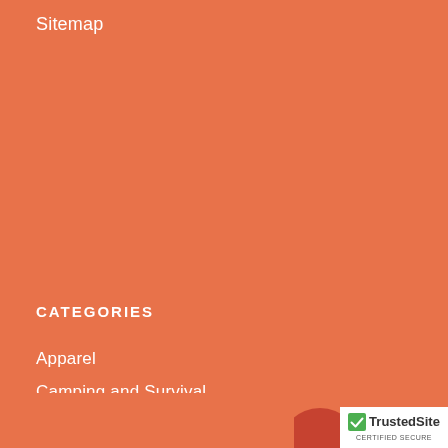Sitemap
CATEGORIES
Apparel
Camping and Survival
Home and Gifts
Hunting
Lightning Deals
Shooting
Archery
POPULAR BRANDS
[Figure (logo): TrustedSite Certified Secure badge — white box with green checkmark shield and text TrustedSite CERTIFIED SECURE]